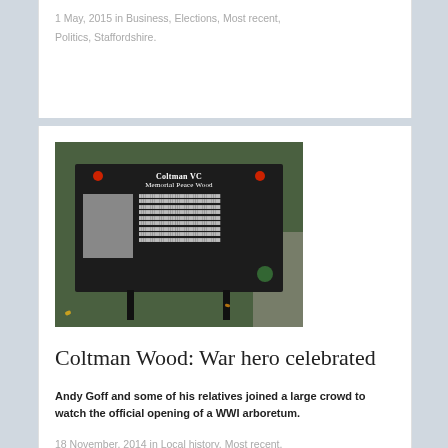1 May, 2015 in Business, Elections, Most recent, Politics, Staffordshire.
[Figure (photo): A dark memorial sign/plaque reading 'Coltman VC Memorial Peace Wood' mounted on legs, set against a green grassy background with a path visible. The sign has red poppies decorating the top corners and a green badge at the bottom right. A black and white portrait photo is displayed on the left side of the sign.]
Coltman Wood: War hero celebrated
Andy Goff and some of his relatives joined a large crowd to watch the official opening of a WWI arboretum.
18 November, 2014 in Local history, Most recent, Staffordshire.